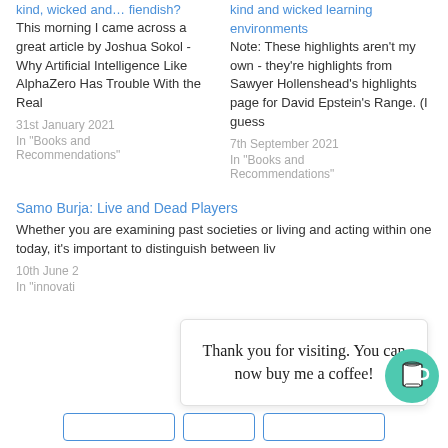kind, wicked and… fiendish?
This morning I came across a great article by Joshua Sokol - Why Artificial Intelligence Like AlphaZero Has Trouble With the Real
31st January 2021
In "Books and Recommendations"
kind and wicked learning environments
Note: These highlights aren't my own - they're highlights from Sawyer Hollenshead's highlights page for David Epstein's Range. (I guess
7th September 2021
In "Books and Recommendations"
Samo Burja: Live and Dead Players
Whether you are examining past societies or living and acting within one today, it's important to distinguish between liv
10th June 2
In "innovati
Thank you for visiting. You can now buy me a coffee!